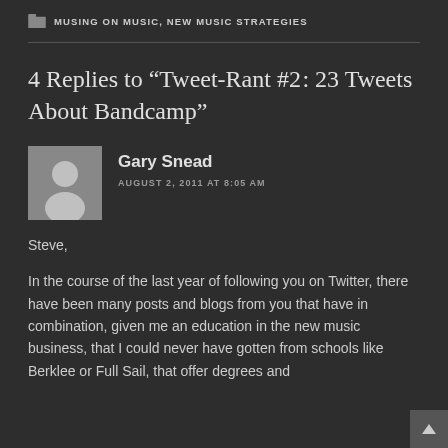MUSING ON MUSIC, NEW MUSIC STRATEGIES
4 Replies to “Tweet-Rant #2: 23 Tweets About Bandcamp”
Gary Snead
AUGUST 2, 2011 AT 8:05 AM
Steve,
In the course of the last year of following you on Twitter, there have been many posts and blogs from you that have in combination, given me an education in the new music business, that I could never have gotten from schools like Berklee or Full Sail, that offer degrees and